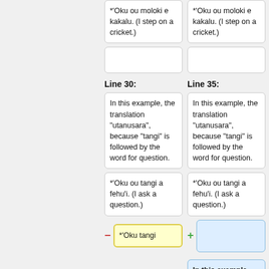*'Oku ou moloki e kakalu. (I step on a cricket.)
*'Oku ou moloki e kakalu. (I step on a cricket.)
Line 30:
Line 35:
In this example, the translation "utanusara", because "tangi" is followed by the word for question.
In this example, the translation "utanusara", because "tangi" is followed by the word for question.
*'Oku ou tangi a fehu'i. (I ask a question.)
*'Oku ou tangi a fehu'i. (I ask a question.)
*'Oku tangi
In this example, the translation